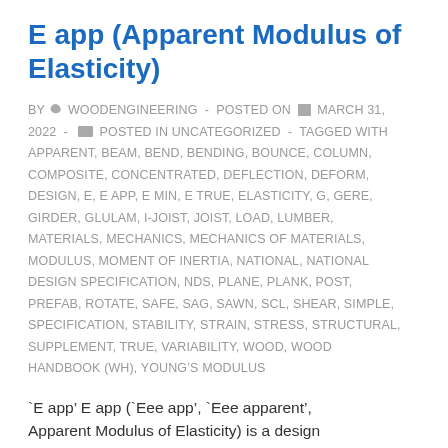E app (Apparent Modulus of Elasticity)
BY WOODENGINEERING - POSTED ON MARCH 31, 2022 - POSTED IN UNCATEGORIZED - TAGGED WITH APPARENT, BEAM, BEND, BENDING, BOUNCE, COLUMN, COMPOSITE, CONCENTRATED, DEFLECTION, DEFORM, DESIGN, E, E APP, E MIN, E TRUE, ELASTICITY, G, GERE, GIRDER, GLULAM, I-JOIST, JOIST, LOAD, LUMBER, MATERIALS, MECHANICS, MECHANICS OF MATERIALS, MODULUS, MOMENT OF INERTIA, NATIONAL, NATIONAL DESIGN SPECIFICATION, NDS, PLANE, PLANK, POST, PREFAB, ROTATE, SAFE, SAG, SAWN, SCL, SHEAR, SIMPLE, SPECIFICATION, STABILITY, STRAIN, STRESS, STRUCTURAL, SUPPLEMENT, TRUE, VARIABILITY, WOOD, WOOD HANDBOOK (WH), YOUNG’S MODULUS
`E app’ E app (`Eee app’, `Eee apparent’, Apparent Modulus of Elasticity) is a design